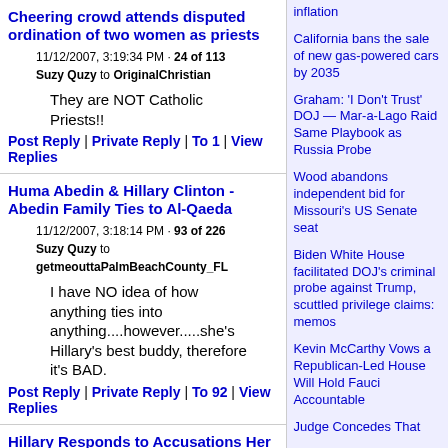Cheering crowd attends disputed ordination of two women as priests
11/12/2007, 3:19:34 PM · 24 of 113
Suzy Quzy to OriginalChristian
They are NOT Catholic Priests!!
Post Reply | Private Reply | To 1 | View Replies
Huma Abedin & Hillary Clinton - Abedin Family Ties to Al-Qaeda
11/12/2007, 3:18:14 PM · 93 of 226
Suzy Quzy to getmeouttaPalmBeachCounty_FL
I have NO idea of how anything ties into anything....however.....she's Hillary's best buddy, therefore it's BAD.
Post Reply | Private Reply | To 92 | View Replies
Hillary Responds to Accusations Her Campaign Planted Questions At Public Appearances
11/12/2007, 2:26:03 PM · 59 of 91
Suzy Quzy to libstripper
inflation
California bans the sale of new gas-powered cars by 2035
Graham: 'I Don't Trust' DOJ — Mar-a-Lago Raid Same Playbook as Russia Probe
Wood abandons independent bid for Missouri's US Senate seat
Biden White House facilitated DOJ's criminal probe against Trump, scuttled privilege claims: memos
Kevin McCarthy Vows a Republican-Led House Will Hold Fauci Accountable
Judge Concedes That